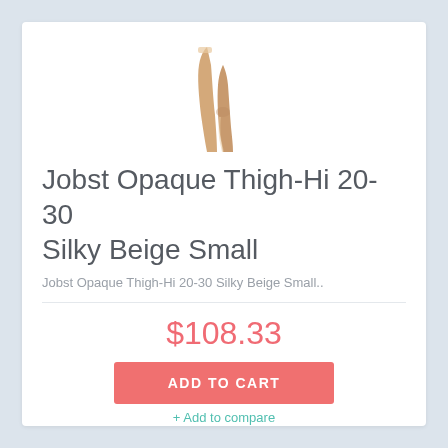[Figure (photo): Product photo of compression stockings/thigh-high hosiery on a leg model, showing beige colored garment]
Jobst Opaque Thigh-Hi 20-30 Silky Beige Small
Jobst Opaque Thigh-Hi 20-30 Silky Beige Small..
$108.33
ADD TO CART
+ Add to compare
+ Add to wishlist